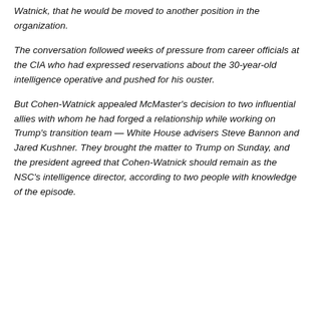Watnick, that he would be moved to another position in the organization.
The conversation followed weeks of pressure from career officials at the CIA who had expressed reservations about the 30-year-old intelligence operative and pushed for his ouster.
But Cohen-Watnick appealed McMaster's decision to two influential allies with whom he had forged a relationship while working on Trump's transition team — White House advisers Steve Bannon and Jared Kushner. They brought the matter to Trump on Sunday, and the president agreed that Cohen-Watnick should remain as the NSC's intelligence director, according to two people with knowledge of the episode.